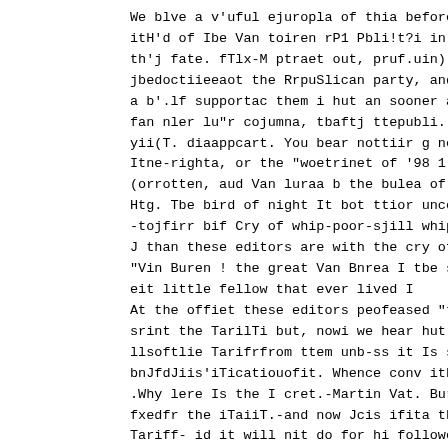We blve a v'uful ejuropla of thia before oa in
itH'd of Ibe Van toiren rP1 Pbli!t?i in
th'j fate. fTlx-M ptraet out, pruf.uin)
jbedoctiieeaot the RrpuSlican party, and fur
a b'.lf supportac them i hut an sooner am
fan nler lu"r cojumna, tbaftj ttepubli.
yii(T. diaappcart. You bear nottiir g now abou
Itne-righta, or the "woetrinet of '98 1 all ar
(orrotten, aud Van luraa b the bulea of their
Htg. Tbe bird of night It bot ttior unceka-
-tojfirr bif Cry of whip-poor-sjill whip-noor-
J than these editors are with the cry of
"Vin Buren ! the great Van Bnrea I tbe sweet,
eit little fellow that ever lived I
At the offiet these editors peofeased "to b
srint the TarilTi but, nowi we hear hut Jit
llsoftlie Tarifrfrom ttem unb-ss it Is s left
bnJfdJiis'iTicatiouofit. Whence conv ithi
.Why lere Is the I cret.-Martin Vat. Buren
fxedfr the iTaiiT.-and now Jcis ifita the
Tariff- id it will nit do for hi followers to
tbe kaaauat, iot tear id utjurieg tba
a
Citnot theae tditors raise their minds s littl